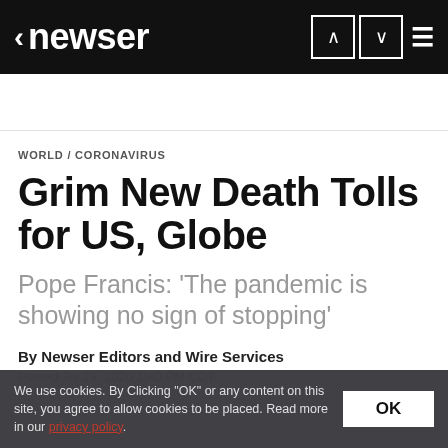newser
WORLD / CORONAVIRUS
Grim New Death Tolls for US, Globe
Pope Francis: 'The pandemic is showing no sign of stopping'
By Newser Editors and Wire Services
Posted Jul 19, 2020 1:40 PM CDT
We use cookies. By Clicking "OK" or any content on this site, you agree to allow cookies to be placed. Read more in our privacy policy.